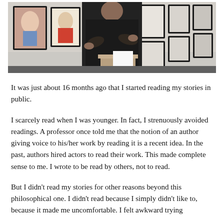[Figure (photo): A man in a black jacket standing at a podium or lectern in front of a wall covered with framed portrait artworks/drawings, appearing to give a reading or talk.]
It was just about 16 months ago that I started reading my stories in public.
I scarcely read when I was younger. In fact, I strenuously avoided readings. A professor once told me that the notion of an author giving voice to his/her work by reading it is a recent idea. In the past, authors hired actors to read their work. This made complete sense to me. I wrote to be read by others, not to read.
But I didn't read my stories for other reasons beyond this philosophical one. I didn't read because I simply didn't like to, because it made me uncomfortable. I felt awkward trying